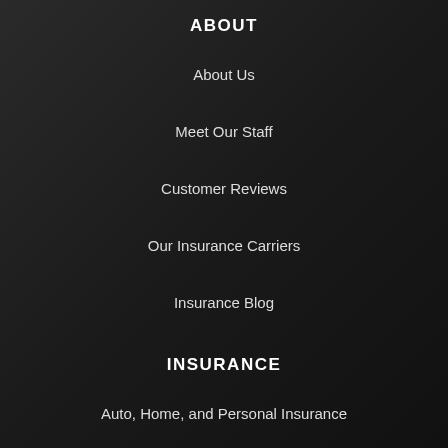ABOUT
About Us
Meet Our Staff
Customer Reviews
Our Insurance Carriers
Insurance Blog
INSURANCE
Auto, Home, and Personal Insurance